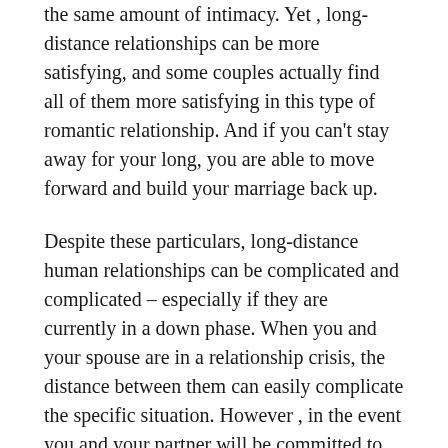the same amount of intimacy. Yet , long-distance relationships can be more satisfying, and some couples actually find all of them more satisfying in this type of romantic relationship. And if you can't stay away for your long, you are able to move forward and build your marriage back up.
Despite these particulars, long-distance human relationships can be complicated and complicated – especially if they are currently in a down phase. When you and your spouse are in a relationship crisis, the distance between them can easily complicate the specific situation. However , in the event you and your partner will be committed to one other and had mapped out a future together, a long-distance relationship will probably be less complicated. It will take a lot of effort to reconcile and always build your marriage.
Despite the difficulties and pitfalls of long-distance